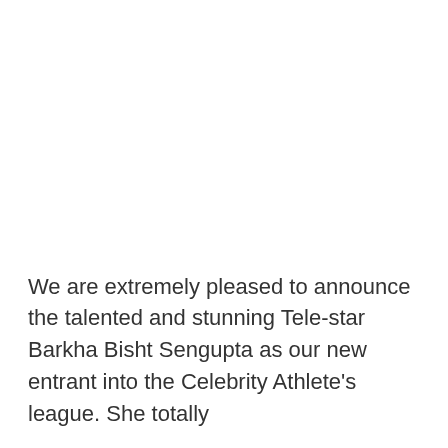We are extremely pleased to announce the talented and stunning Tele-star Barkha Bisht Sengupta as our new entrant into the Celebrity Athlete's league. She totally